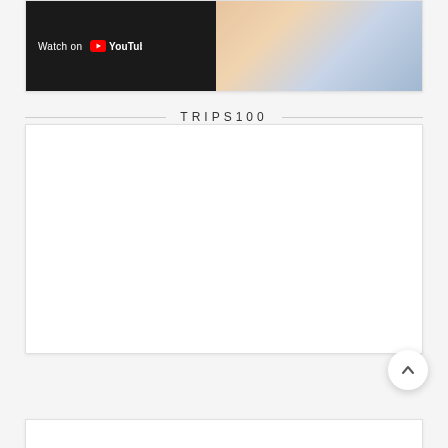[Figure (screenshot): YouTube video thumbnail with 'Watch on YouTube' overlay bar on left side and colorful image on right side]
TRIPS100
[Figure (other): Empty white card widget for TRIPS100 section]
[Figure (other): Partial white card at bottom of page]